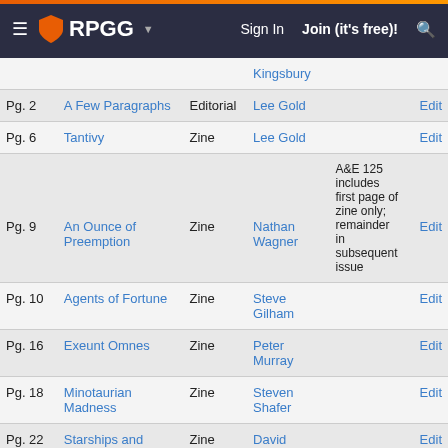RPGG — Sign In  Join (it's free)!
| Page | Title | Type | Author | Notes | Action |
| --- | --- | --- | --- | --- | --- |
|  | Kingsbury |  |  |  |  |
| Pg. 2 | A Few Paragraphs | Editorial | Lee Gold |  | Edit |
| Pg. 6 | Tantivy | Zine | Lee Gold |  | Edit |
| Pg. 9 | An Ounce of Preemption | Zine | Nathan Wagner | A&E 125 includes first page of zine only; remainder in subsequent issue | Edit |
| Pg. 10 | Agents of Fortune | Zine | Steve Gilham |  | Edit |
| Pg. 16 | Exeunt Omnes | Zine | Peter Murray |  | Edit |
| Pg. 18 | Minotaurian Madness | Zine | Steven Shafer |  | Edit |
| Pg. 22 | Starships and Sorcery | Zine | David Union |  | Edit |
|  |  |  | David |  |  |